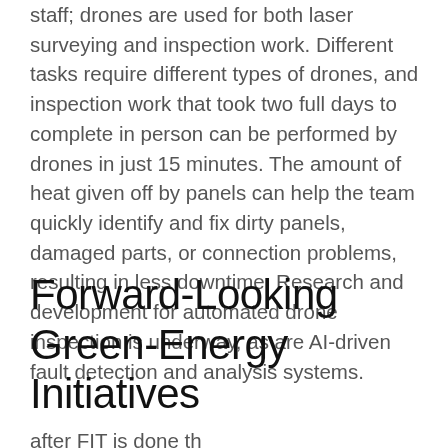staff; drones are used for both laser surveying and inspection work. Different tasks require different types of drones, and inspection work that took two full days to complete in person can be performed by drones in just 15 minutes. The amount of heat given off by panels can help the team quickly identify and fix dirty panels, damaged parts, or connection problems, resulting in less downtime. Research and development for automated drone inspection is underway, as are AI-driven fault detection and analysis systems.
Forward-Looking Green-Energy Initiatives
after FIT is done this should be cut text...